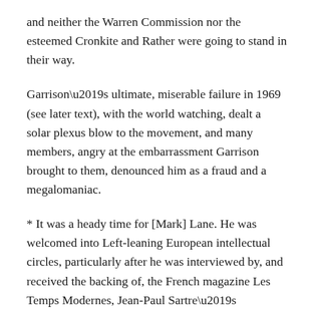and neither the Warren Commission nor the esteemed Cronkite and Rather were going to stand in their way.
Garrison's ultimate, miserable failure in 1969 (see later text), with the world watching, dealt a solar plexus blow to the movement, and many members, angry at the embarrassment Garrison brought to them, denounced him as a fraud and a megalomaniac.
* It was a heady time for [Mark] Lane. He was welcomed into Left-leaning European intellectual circles, particularly after he was interviewed by, and received the backing of, the French magazine Les Temps Modernes, Jean-Paul Sartre's publication. Noted British philosopher Bertrand Russell headed up the London branch of Lane's inquiry, calling his group “The British ‘Who Killed Kennedy?’ Committee.” Fourteen of the fifteen members of the committee were Oxford or Cambridge University graduates listed in Britain’s Who’s Who, including Oxford University professor Hugh Trevor-Roper, who became